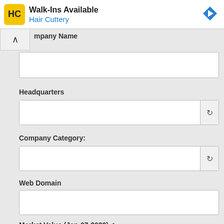[Figure (screenshot): Hair Cuttery advertisement banner with yellow HC logo, text 'Walk-Ins Available' and 'Hair Cuttery', and a blue navigation arrow icon]
mpany Name
Headquarters
Company Category:
Web Domain
Market Value (Jan-07-2022) <